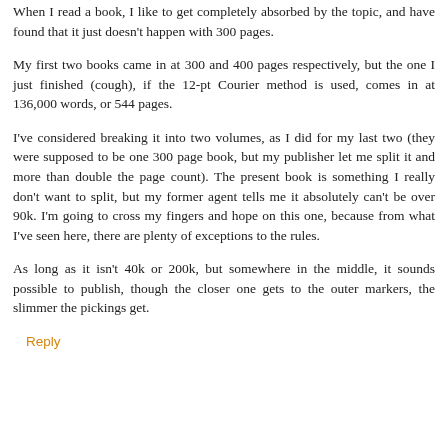When I read a book, I like to get completely absorbed by the topic, and have found that it just doesn't happen with 300 pages.
My first two books came in at 300 and 400 pages respectively, but the one I just finished (cough), if the 12-pt Courier method is used, comes in at 136,000 words, or 544 pages.
I've considered breaking it into two volumes, as I did for my last two (they were supposed to be one 300 page book, but my publisher let me split it and more than double the page count). The present book is something I really don't want to split, but my former agent tells me it absolutely can't be over 90k. I'm going to cross my fingers and hope on this one, because from what I've seen here, there are plenty of exceptions to the rules.
As long as it isn't 40k or 200k, but somewhere in the middle, it sounds possible to publish, though the closer one gets to the outer markers, the slimmer the pickings get.
Reply